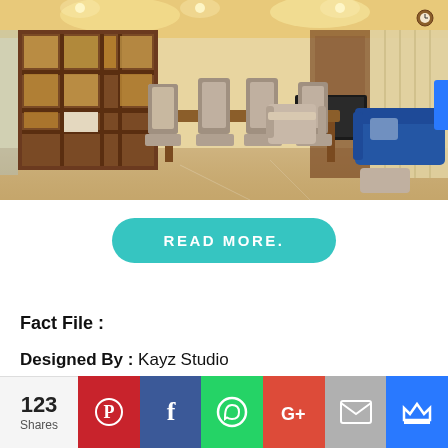[Figure (photo): Interior photo of a modern living/dining room with wooden shelving unit, dining table with patterned chairs, curtains, and blue sofa in the background]
READ MORE.
Fact File :
Designed By : Kayz Studio
Completion Year : 2022
123 Shares | Pinterest | Facebook | WhatsApp | Google+ | Email | Crown